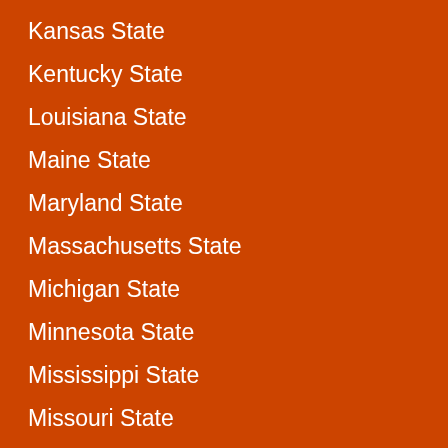Kansas State
Kentucky State
Louisiana State
Maine State
Maryland State
Massachusetts State
Michigan State
Minnesota State
Mississippi State
Missouri State